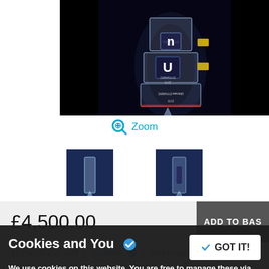[Figure (photo): Product photo of a transparent/crystal audio phono cartridge component against a black background]
Zoom
[Figure (photo): Small thumbnail of product on dark blue background]
[Figure (photo): Small thumbnail of product on dark blue background]
£4,500.00
ADD TO BAS
£3,750.00 Exc. VAT | Available | Add to wishlist
Cookies and You
We use cookies on this website. You are free to manage these via your browser settings at any time. For more about how we use cookies, please see our Privacy Policy
GOT IT!